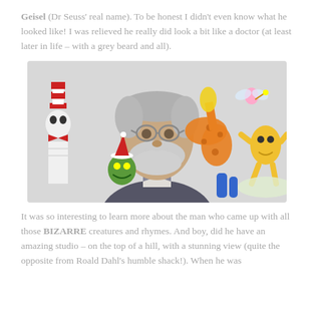Geisel (Dr Seuss' real name). To be honest I didn't even know what he looked like! I was relieved he really did look a bit like a doctor (at least later in life – with a grey beard and all).
[Figure (photo): Photo of elderly Dr Seuss (Theodor Seuss Geisel) with grey beard and glasses, surrounded by his illustrated characters including the Cat in the Hat, the Grinch, and various fantastical creatures.]
It was so interesting to learn more about the man who came up with all those BIZARRE creatures and rhymes. And boy, did he have an amazing studio – on the top of a hill, with a stunning view (quite the opposite from Roald Dahl's humble shack!). When he was